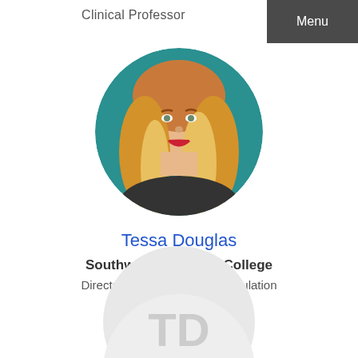Clinical Professor
Menu
[Figure (photo): Circular profile photo of Tessa Douglas, a woman with blonde hair and red lipstick, smiling, against a teal background]
Tessa Douglas
Southwest Technical College
Director of Programs and Articulation
[Figure (illustration): Partial circular avatar placeholder with initials TD in gray]